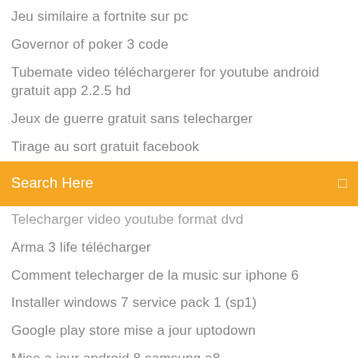Jeu similaire a fortnite sur pc
Governor of poker 3 code
Tubemate video téléchargerer for youtube android gratuit app 2.2.5 hd
Jeux de guerre gratuit sans telecharger
Tirage au sort gratuit facebook
[Figure (screenshot): Orange search bar with text 'Search Here' and a search icon on the right]
Telecharger video youtube format dvd
Arma 3 life télécharger
Comment telecharger de la music sur iphone 6
Installer windows 7 service pack 1 (sp1)
Google play store mise a jour uptodown
Mise a jour android 8 samsung a8
Le bon coin version ordinateur
Application bluetooth pc windows 7
Foxit reader pdf printer cpu
Kim kardashian hollywood jeu en francais
Meilleur logiciel facturation gratuit auto entrepreneur